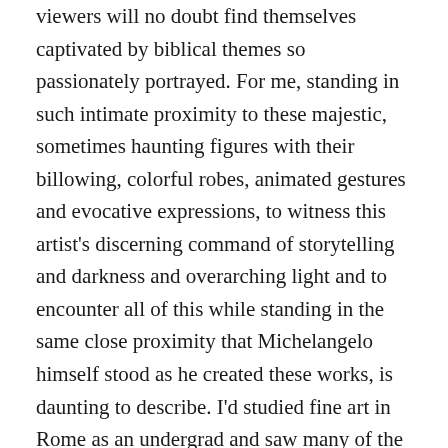viewers will no doubt find themselves captivated by biblical themes so passionately portrayed. For me, standing in such intimate proximity to these majestic, sometimes haunting figures with their billowing, colorful robes, animated gestures and evocative expressions, to witness this artist's discerning command of storytelling and darkness and overarching light and to encounter all of this while standing in the same close proximity that Michelangelo himself stood as he created these works, is daunting to describe. I'd studied fine art in Rome as an undergrad and saw many of the most famous works by Michelangelo, da Vinci, Rembrandt and others in what might be considered their proper places, their true homes. This experience was an altogether different kind of immersion. The sheer feat of 5000 sq feet of painting, the painstaking, neck-aching 4-1/2 years to completion, the imaginative reach that propelled this genius' magnum